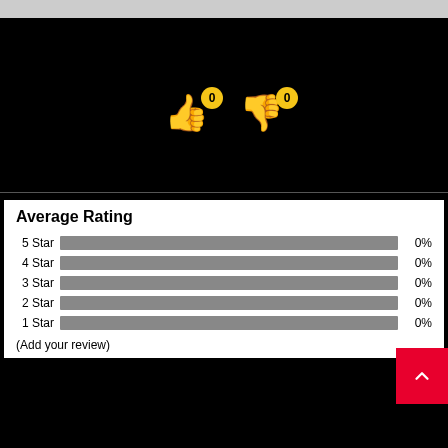[Figure (infographic): Thumbs up emoji with yellow badge showing 0, and thumbs down emoji with yellow badge showing 0]
Average Rating
[Figure (bar-chart): Average Rating]
(Add your review)